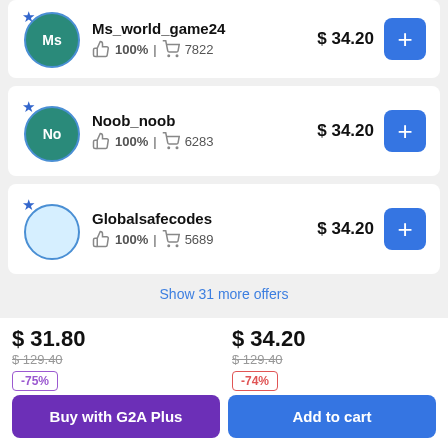Ms_world_game24 100% | 7822 $ 34.20
Noob_noob 100% | 6283 $ 34.20
Globalsafecodes 100% | 5689 $ 34.20
Show 31 more offers
$ 31.80 $129.40 -75%
$ 34.20 $129.40 -74%
Buy with G2A Plus
Add to cart